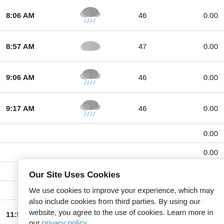| Time | Icon | Temp | Precip |
| --- | --- | --- | --- |
| 8:06 AM | [rain icon] | 46 | 0.00 |
| 8:57 AM | [cloud icon] | 47 | 0.00 |
| 9:06 AM | [rain icon] | 46 | 0.00 |
| 9:17 AM | [rain icon] | 46 | 0.00 |
|  |  |  | 0.00 |
|  |  |  | 0.00 |
|  |  |  | 0.01 |
|  |  |  | 0.00 |
| 11:57 AM | [rain icon] | 47 | 0.01 |
Our Site Uses Cookies
We use cookies to improve your experience, which may also include cookies from third parties. By using our website, you agree to the use of cookies. Learn more in our privacy policy.
ACCEPT & CLOSE